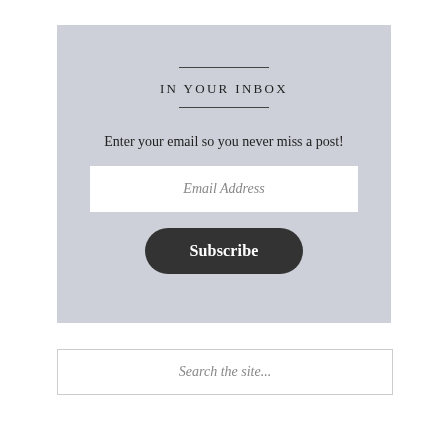IN YOUR INBOX
Enter your email so you never miss a post!
Email Address
Subscribe
Search the site...